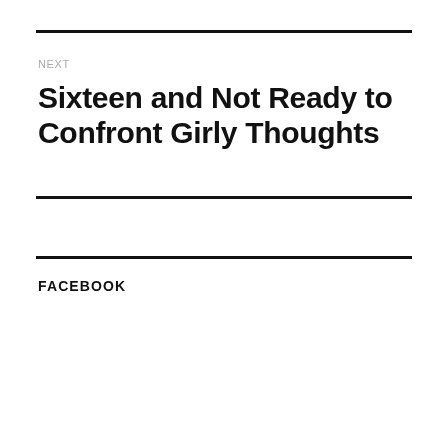NEXT
Sixteen and Not Ready to Confront Girly Thoughts
FACEBOOK